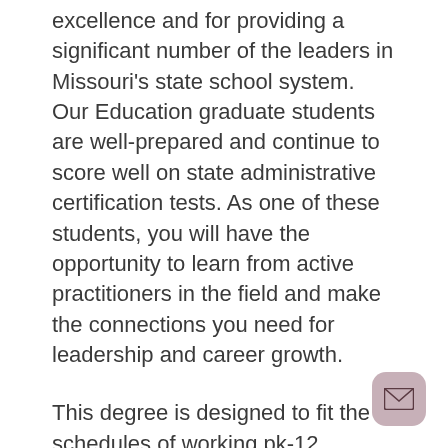excellence and for providing a significant number of the leaders in Missouri's state school system. Our Education graduate students are well-prepared and continue to score well on state administrative certification tests. As one of these students, you will have the opportunity to learn from active practitioners in the field and make the connections you need for leadership and career growth.
This degree is designed to fit the schedules of working pk-12 teachers and administrators and can be completed in two years or less through evening courses taught in convenient locations around the state. You can expect rigorous coursework with real-world relevance, designed